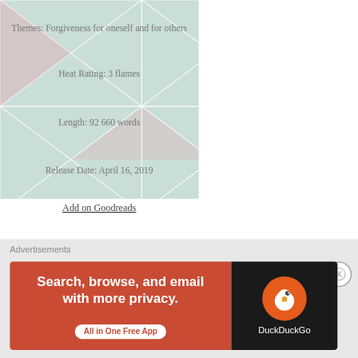Themes: Forgiveness for oneself and for others
Heat Rating: 3 flames
Length: 92 660 words
Release Date: April 16, 2019
Add on Goodreads
Blurb
A Links in the Chain Story
A rich man is about to set foot into an unknown world
Advertisements
[Figure (other): DuckDuckGo advertisement banner: Search, browse, and email with more privacy. All in One Free App]